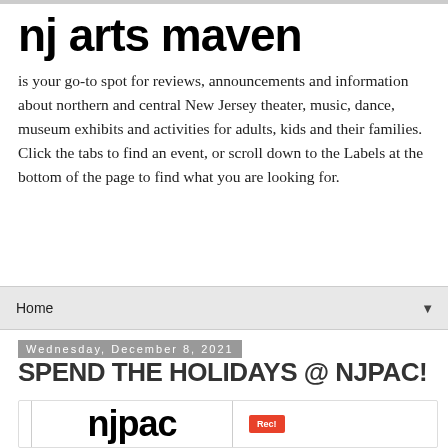nj arts maven
is your go-to spot for reviews, announcements and information about northern and central New Jersey theater, music, dance, museum exhibits and activities for adults, kids and their families. Click the tabs to find an event, or scroll down to the Labels at the bottom of the page to find what you are looking for.
Home
Wednesday, December 8, 2021
SPEND THE HOLIDAYS @ NJPAC!
[Figure (logo): NJPAC logo in bold black text with a small red badge beside it]